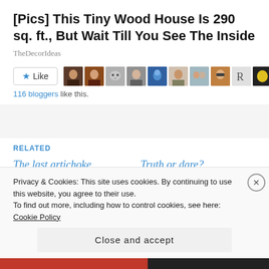[Pics] This Tiny Wood House Is 290 sq. ft., But Wait Till You See The Inside
TheDecorIdeas
[Figure (other): Like button with star icon and a row of 10 blogger avatar thumbnails]
116 bloggers like this.
RELATED
The last artichoke
17 January 2021
In "#cooking"
Truth or dare?
20 September 2020
In "#food"
Privacy & Cookies: This site uses cookies. By continuing to use this website, you agree to their use.
To find out more, including how to control cookies, see here: Cookie Policy
Close and accept